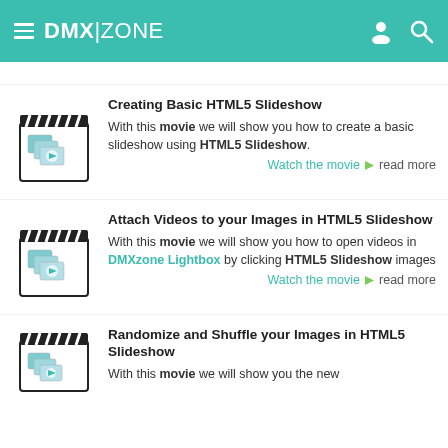DMX|ZONE
Creating Basic HTML5 Slideshow — With this movie we will show you how to create a basic slideshow using HTML5 Slideshow. Watch the movie | read more
Attach Videos to your Images in HTML5 Slideshow — With this movie we will show you how to open videos in DMXzone Lightbox by clicking HTML5 Slideshow images. Watch the movie | read more
Randomize and Shuffle your Images in HTML5 Slideshow — With this movie we will show you the new